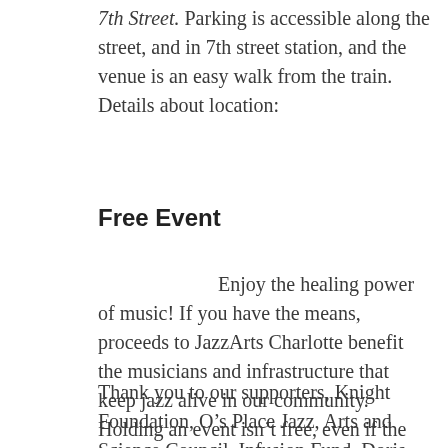7th Street. Parking is accessible along the street, and in 7th street station, and the venue is an easy walk from the train.  Details about location:
Free Event
Enjoy the healing power of music! If you have the means, proceeds to JazzArts Charlotte benefit the musicians and infrastructure that keep jazz alive in our community. Holding an event isn't free, even if the audience cannot attend in person.
Thank you to our supporters, Knight Foundation, O's Place Jazz, Arts and Science Council, Infusion Fund, Doris Duke Foundation